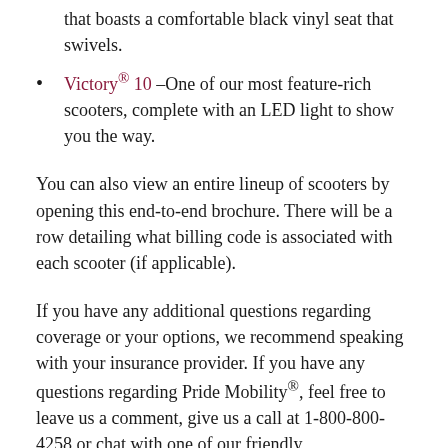that boasts a comfortable black vinyl seat that swivels.
Victory® 10 –One of our most feature-rich scooters, complete with an LED light to show you the way.
You can also view an entire lineup of scooters by opening this end-to-end brochure. There will be a row detailing what billing code is associated with each scooter (if applicable).
If you have any additional questions regarding coverage or your options, we recommend speaking with your insurance provider. If you have any questions regarding Pride Mobility®, feel free to leave us a comment, give us a call at 1-800-800-4258 or chat with one of our friendly representatives by visiting www.pridemobility.com and clicking on the little blue